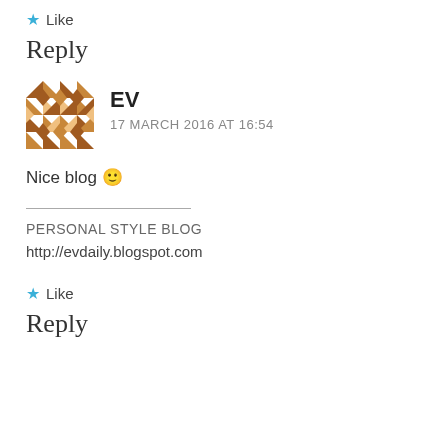★ Like
Reply
EV
17 MARCH 2016 AT 16:54
Nice blog 🙂
PERSONAL STYLE BLOG
http://evdaily.blogspot.com
★ Like
Reply